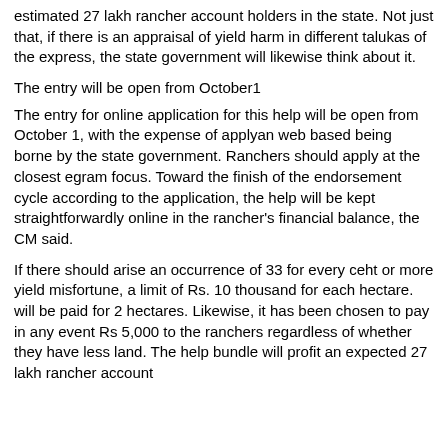estimated 27 lakh rancher account holders in the state. Not just that, if there is an appraisal of yield harm in different talukas of the express, the state government will likewise think about it.
The entry will be open from October1
The entry for online application for this help will be open from October 1, with the expense of applyan web based being borne by the state government. Ranchers should apply at the closest egram focus. Toward the finish of the endorsement cycle according to the application, the help will be kept straightforwardly online in the rancher's financial balance, the CM said.
If there should arise an occurrence of 33 for every ceht or more yield misfortune, a limit of Rs. 10 thousand for each hectare. will be paid for 2 hectares. Likewise, it has been chosen to pay in any event Rs 5,000 to the ranchers regardless of whether they have less land. The help bundle will profit an expected 27 lakh rancher account